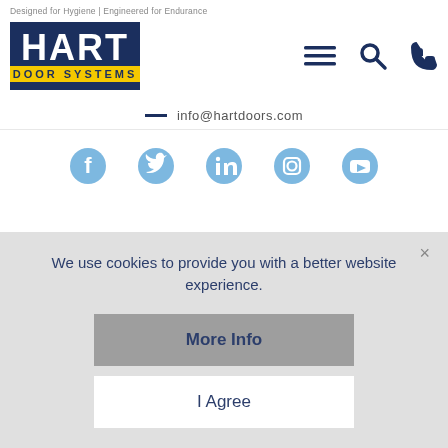Designed for Hygiene | Engineered for Endurance
[Figure (logo): Hart Door Systems logo — dark navy background with 'HART' in large white bold text and 'DOOR SYSTEMS' in yellow banner beneath]
[Figure (illustration): Navigation icons: hamburger menu, search magnifier, phone handset]
info@hartdoors.com
[Figure (illustration): Social media icons row: Facebook, Twitter, LinkedIn, Instagram, YouTube — all in light blue]
We use cookies to provide you with a better website experience.
More Info
I Agree